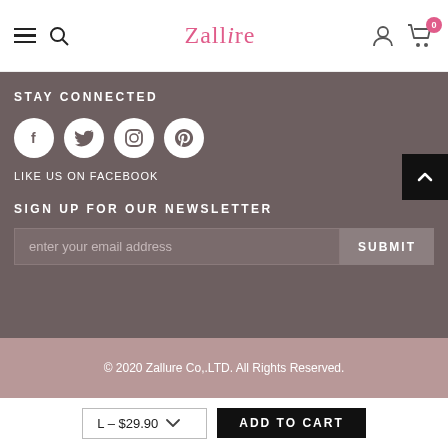[Figure (screenshot): Navigation bar with hamburger menu, search icon, Zallure logo in pink, user icon, and cart icon with badge showing 0]
STAY CONNECTED
[Figure (infographic): Four white circular social media icons: Facebook, Twitter, Instagram, Pinterest on dark brownish background]
LIKE US ON FACEBOOK
SIGN UP FOR OUR NEWSLETTER
[Figure (infographic): Email input field with placeholder 'enter your email address' and SUBMIT button]
© 2020 Zallure Co,.LTD. All Rights Reserved.
L – $29.90  ADD TO CART